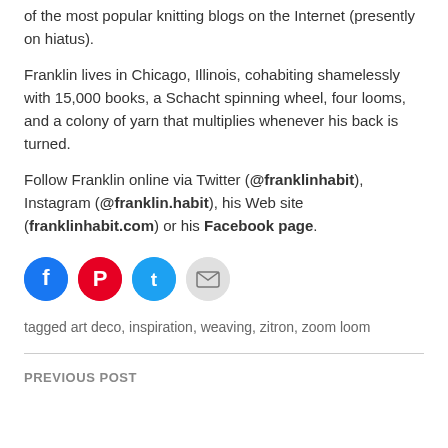of the most popular knitting blogs on the Internet (presently on hiatus).
Franklin lives in Chicago, Illinois, cohabiting shamelessly with 15,000 books, a Schacht spinning wheel, four looms, and a colony of yarn that multiplies whenever his back is turned.
Follow Franklin online via Twitter (@franklinhabit), Instagram (@franklin.habit), his Web site (franklinhabit.com) or his Facebook page.
[Figure (infographic): Four social media icon circles: Facebook (blue), Pinterest (red), Twitter (blue), Email (gray)]
tagged art deco, inspiration, weaving, zitron, zoom loom
PREVIOUS POST